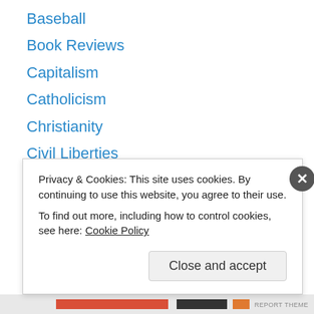Baseball
Book Reviews
Capitalism
Catholicism
Christianity
Civil Liberties
Cults
Economics
Evangelicals
Gardening
Humor
Interviews
Islam
Privacy & Cookies: This site uses cookies. By continuing to use this website, you agree to their use. To find out more, including how to control cookies, see here: Cookie Policy